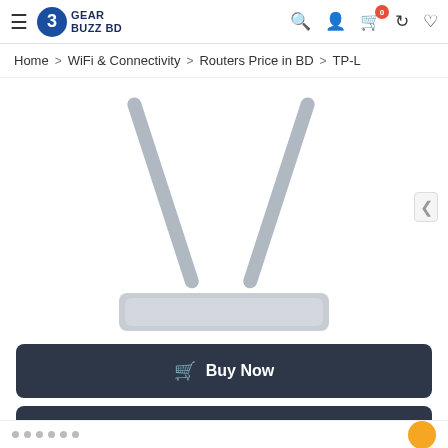Gear Buzz BD — navigation header with hamburger menu, logo, search, account, cart (0), compare, wishlist icons
Home > WiFi & Connectivity > Routers Price in BD > TP-L
[Figure (photo): Product photo of a TP-Link WiFi router showing two antennas spread in a V-shape, on white background]
Buy Now
Add to cart